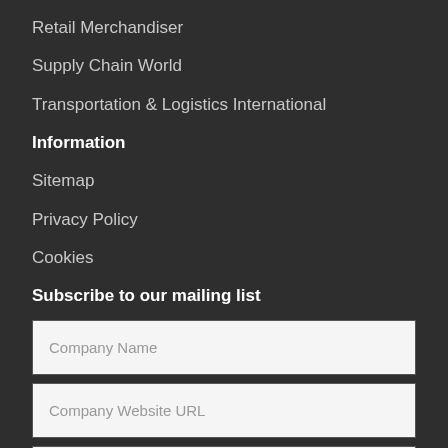Retail Merchandiser
Supply Chain World
Transportation & Logistics International
Information
Sitemap
Privacy Policy
Cookies
Subscribe to our mailing list
Company Name
Company Website URL
Your Email